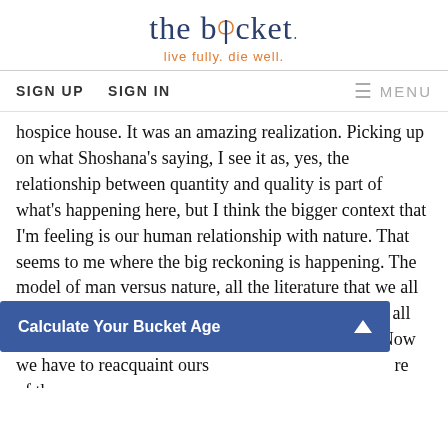the bucket — live fully. die well.
SIGN UP   SIGN IN   ≡ MENU
hospice house. It was an amazing realization. Picking up on what Shoshana's saying, I see it as, yes, the relationship between quantity and quality is part of what's happening here, but I think the bigger context that I'm feeling is our human relationship with nature. That seems to me where the big reckoning is happening. The model of man versus nature, all the literature that we all grew up with in English High School class, that has all shifted. We have a different relationship to nature. Now we have to reacquaint ours [obscured] re of th [obscured] way [obscured] elf to be [obscured] ut all th [obscured]
[Figure (screenshot): Blue overlay bar reading 'Calculate Your Bucket Age' with a white upward triangle arrow on the right]